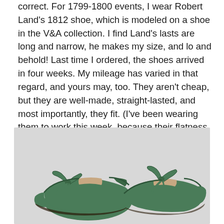correct. For 1799-1800 events, I wear Robert Land's 1812 shoe, which is modeled on a shoe in the V&A collection. I find Land's lasts are long and narrow, he makes my size, and lo and behold! Last time I ordered, the shoes arrived in four weeks. My mileage has varied in that regard, and yours may, too. They aren't cheap, but they are well-made, straight-lasted, and most importantly, they fit. (I've been wearing them to work this week, because their flatness is more comfortable than my modern shoes.)
[Figure (photo): Two green flat shoes with ribbon bows, shown side by side against a light grey background. The shoes are historical-style flat slippers with pointed toes and decorative silk/satin ribbon bows at the toe.]